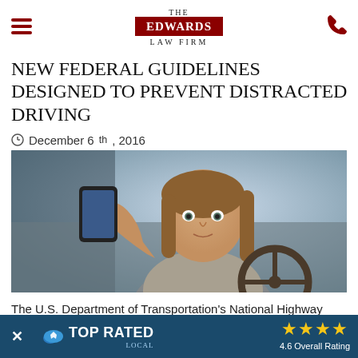THE EDWARDS LAW FIRM
NEW FEDERAL GUIDELINES DESIGNED TO PREVENT DISTRACTED DRIVING
December 6th, 2016
[Figure (photo): Young woman in a car holding a smartphone while sitting at the steering wheel, looking at camera]
The U.S. Department of Transportation's National Highway Traffic Safety Administration (NHTSA) released new gu... distraction from...